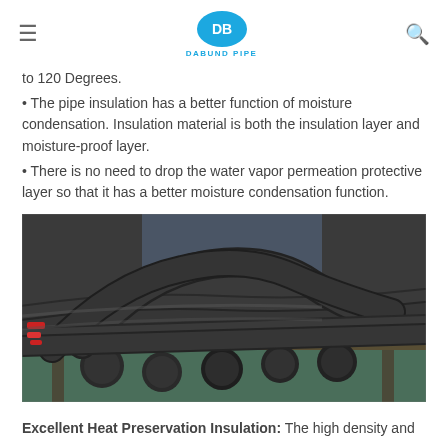DB DABUND PIPE
to 120 Degrees.
The pipe insulation has a better function of moisture condensation. Insulation material is both the insulation layer and moisture-proof layer.
There is no need to drop the water vapor permeation protective layer so that it has a better moisture condensation function.
[Figure (photo): Photo of black insulated pipes laid on a metal rack in a factory setting. Multiple curved and straight dark rubber-insulated pipes are arranged on what appears to be a steel table or rack, with a teal/green factory floor visible in the background.]
Excellent Heat Preservation Insulation: The high density and